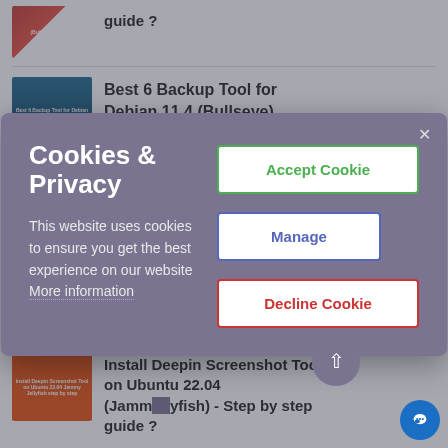[Figure (screenshot): Thumbnail image for a Linux article about Bullseye system with red/white design]
guide ?
[Figure (screenshot): Thumbnail image for Best 6 Backup Tool for Debian 11.4 (Bullseye) with teal/blue background and cloud icon]
Best 6 Backup Tool for Debian 11.4 (Bullseye) system
[Figure (screenshot): Cookie consent modal dialog with purple/grey background showing Accept Cookie, Manage, and Decline Cookie buttons]
Cookies & Privacy
This website uses cookies to ensure you get the best experience on our website More information
[Figure (screenshot): Thumbnail image for Install Deepin Screenshot Tool on Ubuntu article with orange background]
Install Deepin Screenshot Tool on Ubuntu 22.04 (Jamm...yfish) - Step by step guide ?